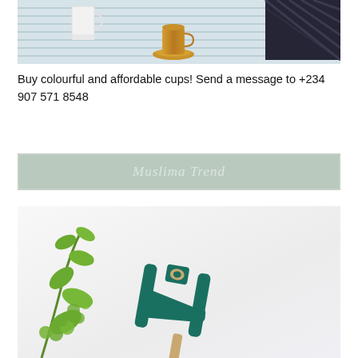[Figure (photo): Top-down photo of a white wooden table surface with a white mug, a copper/gold Turkish tea cup on a gold saucer, and a dark patterned bag or item in the upper right corner.]
Buy colourful and affordable cups! Send a message to +234 907 571 8548
[Figure (logo): Banner with light sage/green background and grey border containing italic serif text 'Muslima Trend'.]
[Figure (photo): Flat-lay photo on a white background showing a green succulent plant branch on the left and teal/green strappy heeled sandals in the center-right.]